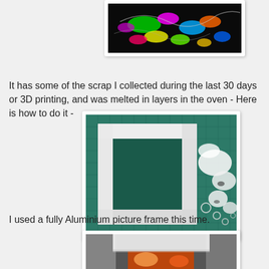[Figure (photo): Framed artwork with colorful melted plastic filament pieces on dark background, in a silver/grey frame]
It has some of the scrap I collected during the last 30 days or 3D printing, and was melted in layers in the oven - Here is how to do it -
[Figure (photo): White aluminium picture frame on a green cutting mat, next to scattered white plastic 3D printing scraps]
I used a fully Aluminium picture frame this time.
[Figure (photo): Bottom partial view of a picture frame with melted colorful plastic inside, on foil-covered surface]